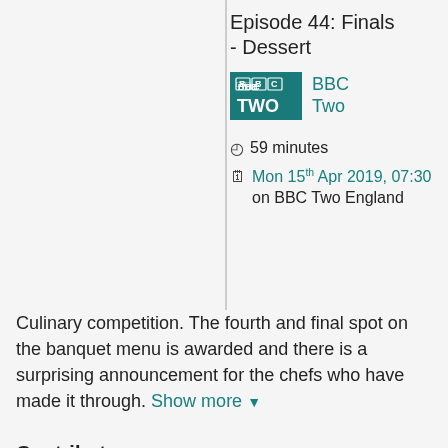Episode 44: Finals - Dessert
[Figure (logo): BBC Two logo - teal/dark green background with BBC TWO text in white]
BBC Two
59 minutes
Mon 15th Apr 2019, 07:30 on BBC Two England
Culinary competition. The fourth and final spot on the banquet menu is awarded and there is a surprising announcement for the chefs who have made it through. Show more
Contributors
Executive Producer: Tom Clarke
Series Producer: Claudine Parrish
Director: Phil Ashton
Series Editor: Genevieve Welch